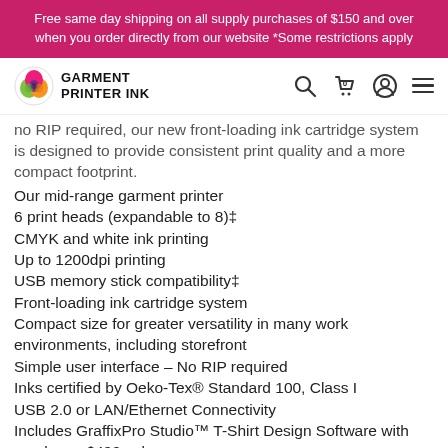Free same day shipping on all supply purchases of $150 and over when you order directly from our website *Some restrictions apply
[Figure (logo): Garment Printer Ink logo with colorful ink drop icon and navigation icons (search, cart with 0, account, hamburger menu)]
no RIP required, our new front-loading ink cartridge system is designed to provide consistent print quality and a more compact footprint.
Our mid-range garment printer
6 print heads (expandable to 8)‡
CMYK and white ink printing
Up to 1200dpi printing
USB memory stick compatibility‡
Front-loading ink cartridge system
Compact size for greater versatility in many work environments, including storefront
Simple user interface – No RIP required
Inks certified by Oeko-Tex® Standard 100, Class I
USB 2.0 or LAN/Ethernet Connectivity
Includes GraffixPro Studio™ T-Shirt Design Software with purchase. $499 value.